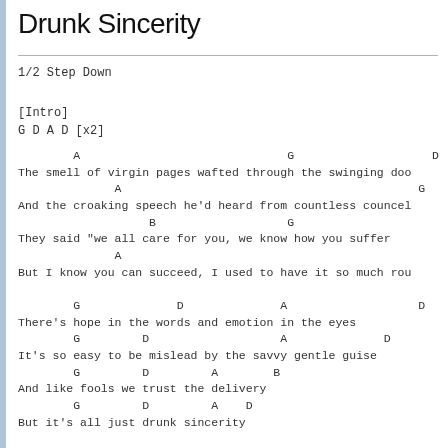Drunk Sincerity
1/2 Step Down
[Intro]
G D A D [x2]
A                              G                    D
The smell of virgin pages wafted through the swinging doo
              A                                           G
And the croaking speech he'd heard from countless councel
                   B                   G
They said "we all care for you, we know how you suffer
              A
But I know you can succeed, I used to have it so much rou
G              D              A                   D
There's hope in the words and emotion in the eyes
        G         D                   A              D
It's so easy to be mislead by the savvy gentle guise
        G         D         A        B
And like fools we trust the delivery
        G         D         A    D
But it's all just drunk sincerity